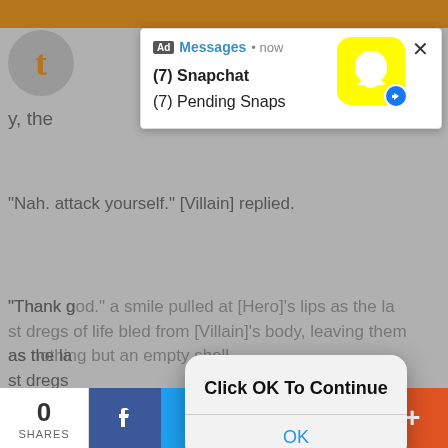Tumblr blog post page with brown top navigation bar
[Figure (screenshot): Snapchat ad notification popup showing '(7) Snapchat (7) Pending Snaps' with Snapchat ghost logo on yellow background and close button]
y, the
"Nah. attack yourself." [Villain] replied.
[Figure (screenshot): iOS-style dialog box overlay with text 'Click OK To Continue' and an OK button in blue text]
"Thank god," a smile pulled at [Hero]'s lips as the last dregs of life bled from [Villain]'s body, leaving them as nothing but an empty shell.
"I'll see you soon [Hero]," [Villain] promised.
#writing prompt #prompt #angst #whump #whmpu prompt #angst prompt #emotional whump #physical whump #villain whumpee #hero whumpee #hero x villain #hero x villain prompt #heroes and villains #
0 SHARES | Facebook | Twitter | Email | Pinterest | More